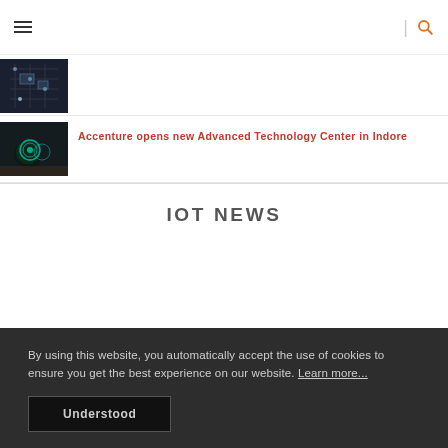Navigation header with hamburger menu and search icon
[Figure (photo): Circuit board close-up photo thumbnail]
[Figure (photo): Glowing digital handshake / technology collaboration photo thumbnail]
Accenture opens new Advanced Technology Center in Indore
IOT NEWS
By using this website, you automatically accept the use of cookies to ensure you get the best experience on our website. Learn more...
Understood